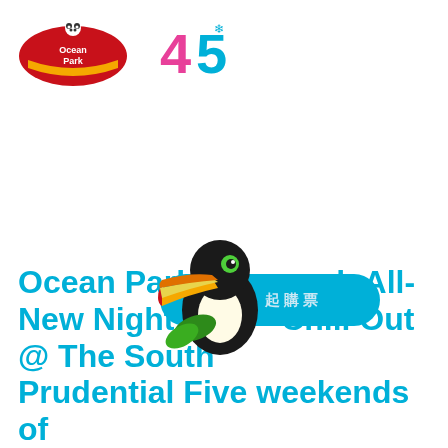[Figure (logo): Ocean Park Hong Kong logo with a panda and the text 'Ocean Park' in stylized font, alongside a colorful '45' anniversary number logo in pink/blue/green]
[Figure (illustration): Toucan bird illustration with colorful beak perched, overlapping the title text area, with a blue pill-shaped button showing Chinese characters]
Ocean Park to Launch All-New Night _____ Chill Out @ The South _____ Prudential Five weekends of